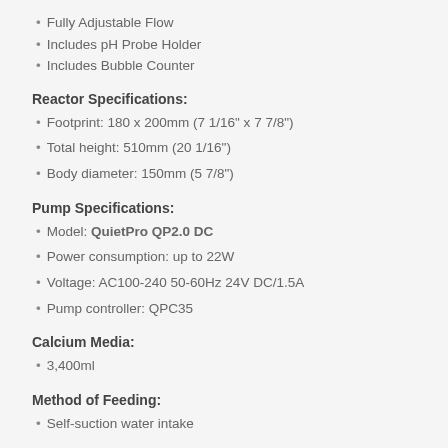Fully Adjustable Flow
Includes pH Probe Holder
Includes Bubble Counter
Reactor Specifications:
Footprint: 180 x 200mm (7 1/16" x 7 7/8")
Total height: 510mm (20 1/16")
Body diameter: 150mm (5 7/8")
Pump Specifications:
Model: QuietPro QP2.0 DC
Power consumption: up to 22W
Voltage: AC100-240 50-60Hz 24V DC/1.5A
Pump controller: QPC35
Calcium Media:
3,400ml
Method of Feeding:
Self-suction water intake